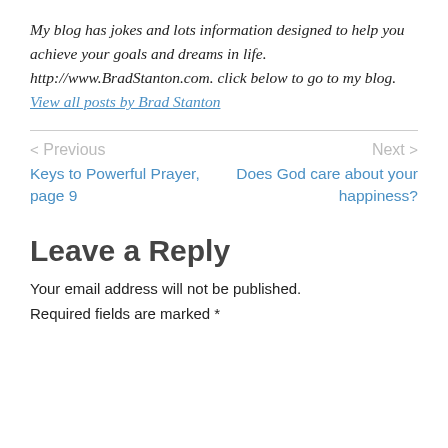My blog has jokes and lots information designed to help you achieve your goals and dreams in life. http://www.BradStanton.com. click below to go to my blog. View all posts by Brad Stanton
< Previous  Keys to Powerful Prayer, page 9
Next >  Does God care about your happiness?
Leave a Reply
Your email address will not be published.
Required fields are marked *